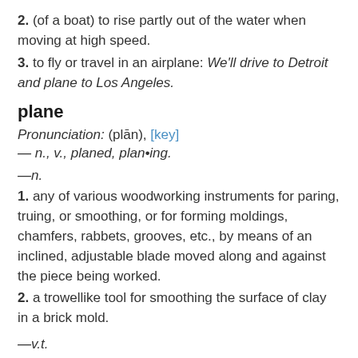2. (of a boat) to rise partly out of the water when moving at high speed.
3. to fly or travel in an airplane: We'll drive to Detroit and plane to Los Angeles.
plane
Pronunciation: (plān), [key]
— n., v., planed, plan•ing.
—n.
1. any of various woodworking instruments for paring, truing, or smoothing, or for forming moldings, chamfers, rabbets, grooves, etc., by means of an inclined, adjustable blade moved along and against the piece being worked.
2. a trowellike tool for smoothing the surface of clay in a brick mold.
—v.t.
1. to smooth or dress with or as if with a plane or a planer.
2. to remove by or as if by means of a plane (usually fol. by